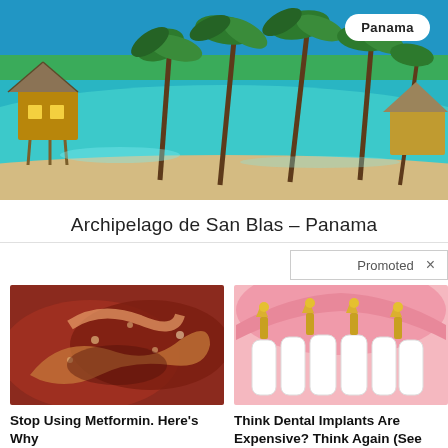[Figure (photo): Tropical beach scene showing turquoise water, palm trees, thatched-roof huts on stilts over the water, white sandy beach — Archipelago de San Blas, Panama]
Archipelago de San Blas – Panama
Promoted ×
[Figure (photo): Close-up medical photo of intestinal/organ tissue, likely intestines or stomach lining]
Stop Using Metformin. Here's Why
🔥 184,695
[Figure (illustration): Medical illustration of dental implants showing white teeth with gold/yellow implant screws in pink gum tissue, viewed from below]
Think Dental Implants Are Expensive? Think Again (See Prices)
🔥 22,813